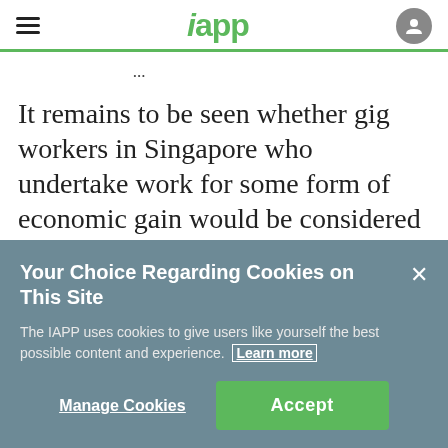iapp
It remains to be seen whether gig workers in Singapore who undertake work for some form of economic gain would be considered as falling within the exclusion of acting in a personal or domestic capacity. If not, then they would be
Your Choice Regarding Cookies on This Site
The IAPP uses cookies to give users like yourself the best possible content and experience. Learn more
Manage Cookies  Accept